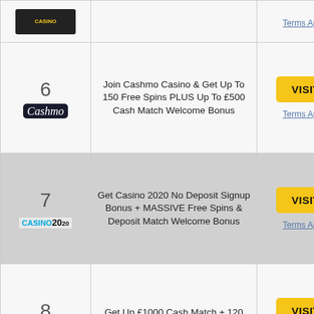| Logo/Rank | Offer | Action |
| --- | --- | --- |
| (partial top row) |  | Terms Apply |
| 6 / Cashmo | Join Cashmo Casino & Get Up To 150 Free Spins PLUS Up To £500 Cash Match Welcome Bonus | VISIT / Terms Apply |
| 7 / Casino 2020 | Get Casino 2020 No Deposit Signup Bonus + MASSIVE Free Spins & Deposit Match Welcome Bonus | VISIT / Terms Apply |
| 8 / Dr Slot | Get Up £1000 Cash Match + 120 Free Spins Dr Slot Welcome Bonus | VISIT / Terms Apply |
| 9 (partial) | Get Up To £1000 |  |